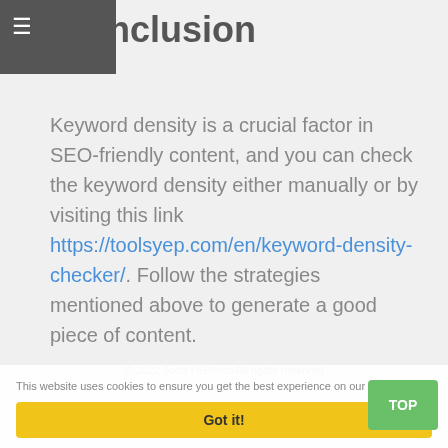≡
Conclusion
Keyword density is a crucial factor in SEO-friendly content, and you can check the keyword density either manually or by visiting this link https://toolsyep.com/en/keyword-density-checker/. Follow the strategies mentioned above to generate a good piece of content.
This website uses cookies to ensure you get the best experience on our website.
© 2022 ToolsYEP.com All rights reserved
Got it!